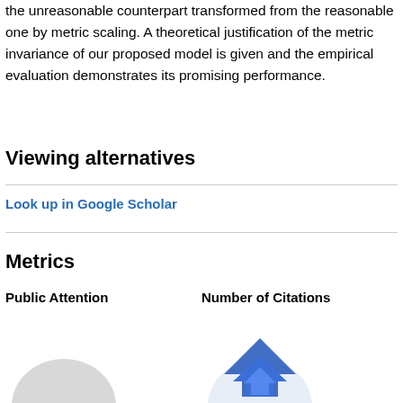the unreasonable counterpart transformed from the reasonable one by metric scaling. A theoretical justification of the metric invariance of our proposed model is given and the empirical evaluation demonstrates its promising performance.
Viewing alternatives
Look up in Google Scholar
Metrics
Public Attention
Number of Citations